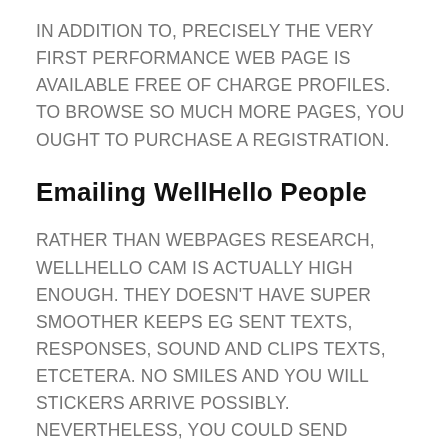IN ADDITION TO, PRECISELY THE VERY FIRST PERFORMANCE WEB PAGE IS AVAILABLE FREE OF CHARGE PROFILES. TO BROWSE SO MUCH MORE PAGES, YOU OUGHT TO PURCHASE A REGISTRATION.
Emailing WellHello People
RATHER THAN WEBPAGES RESEARCH, WELLHELLO CAM IS ACTUALLY HIGH ENOUGH. THEY DOESN'T HAVE SUPER SMOOTHER KEEPS EG SENT TEXTS, RESPONSES, SOUND AND CLIPS TEXTS, ETCETERA. NO SMILES AND YOU WILL STICKERS ARRIVE POSSIBLY. NEVERTHELESS, YOU COULD SEND IMAGES AND YOU WILL TEXTS,